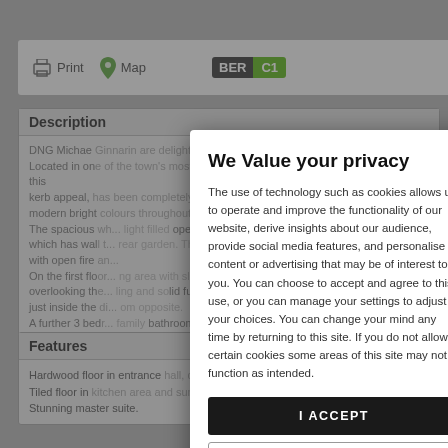[Figure (screenshot): Website toolbar with Print and Map buttons and BER C1 energy rating badge]
Description
DNG Michael Ginnarin are delighted to bring No 1 Church Road to the mar Located in one of the town's most sought after residential locations in the town, this kerb appeal, has been completely renovated and refurbished a number of ye modern bright colours throughout... The spacious... light filled open plan kit which has wall t... rear garden. There is with open fire an... On the first floor... ng area with sliding d overlooking the... ling and solid fuel stove. A just inside the di... om opposite. A further 3 bed... family bathroom are al This is a must see... pressive home in a highly regarde Check out our 3D virtual tour in the video section.
Features
Hardwood floor in entrance hall, dining area and sub room.
Tiled floor in kitchen area and sun room.
Stunning master suite.
[Figure (screenshot): Privacy consent modal dialog overlay. Title: We Value your privacy. Body text describes cookie usage and user choices. Two buttons: I ACCEPT and MANAGE MY SETTINGS.]